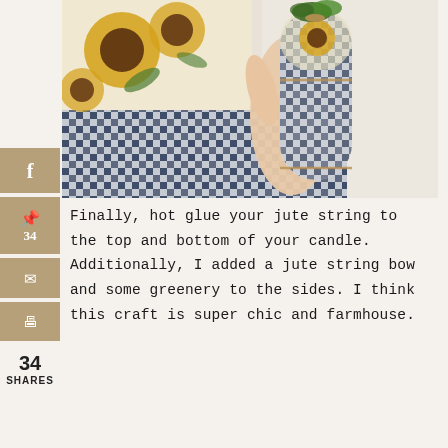[Figure (photo): A hand holding a cylindrical candle wrapped in black and white gingham fabric and sunflower fabric, with greenery tied at the top with jute string. Another sunflower-patterned fabric piece is visible in the background.]
Finally, hot glue your jute string to the top and bottom of your candle. Additionally, I added a jute string bow and some greenery to the sides. I think this craft is super chic and farmhouse.